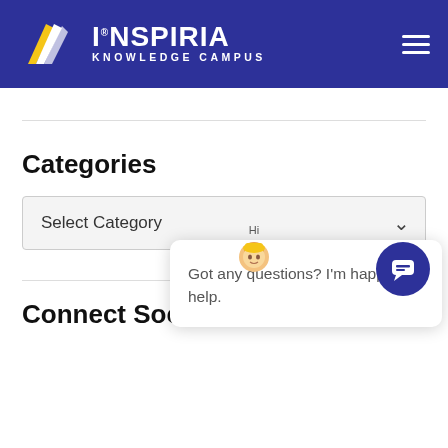[Figure (logo): Inspiria Knowledge Campus logo with blue background, white feather/wing graphic, and white text reading INSPIRIA KNOWLEDGE CAMPUS, with hamburger menu icon on right]
Categories
[Figure (screenshot): Select Category dropdown input field with chevron arrow]
[Figure (infographic): Chat widget popup with avatar, Hi label, close X button, and text: Got any questions? I'm happy to help.]
[Figure (infographic): Chat button circle with speech bubble icon in bottom right]
Connect Social